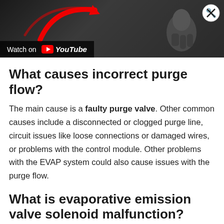[Figure (screenshot): YouTube video thumbnail showing a person in a black t-shirt with a wrench/tools icon, red arrow graphic, and 'Watch on YouTube' overlay button]
What causes incorrect purge flow?
The main cause is a faulty purge valve. Other common causes include a disconnected or clogged purge line, circuit issues like loose connections or damaged wires, or problems with the control module. Other problems with the EVAP system could also cause issues with the purge flow.
What is evaporative emission valve solenoid malfunction?